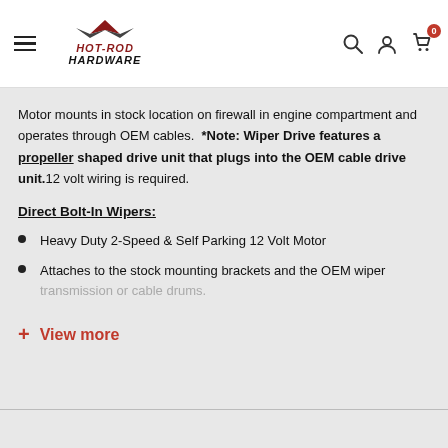Hot Rod Hardware — navigation header with logo, search, account, and cart icons
Motor mounts in stock location on firewall in engine compartment and operates through OEM cables. *Note: Wiper Drive features a propeller shaped drive unit that plugs into the OEM cable drive unit. 12 volt wiring is required.
Direct Bolt-In Wipers:
Heavy Duty 2-Speed & Self Parking 12 Volt Motor
Attaches to the stock mounting brackets and the OEM wiper transmission or cable drums.
+ View more